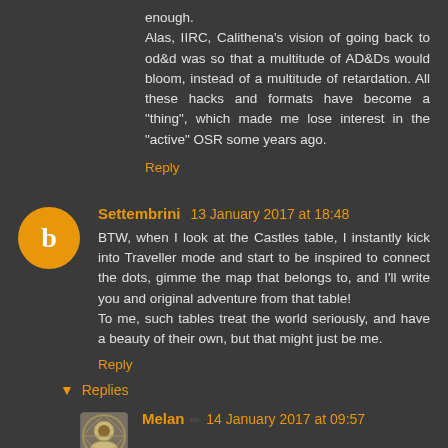enough.
Alas, IIRC, Calithena's vision of going back to od&d was so that a multitude of AD&Ds would bloom, instead of a multitude of retardation. All these hacks and formats have become a "thing", which made me lose interest in the "active" OSR some years ago.
Reply
Settembrini  13 January 2017 at 18:48
BTW, when I look at the Castles table, I instantly kick into Traveller mode and start to be inspired to connect the dots, gimme the map that belongs to, and I'll write you and original adventure from that table!
To me, such tables treat the world seriously, and have a beauty of their own, but that might just be me.
Reply
Replies
Melan  14 January 2017 at 09:57